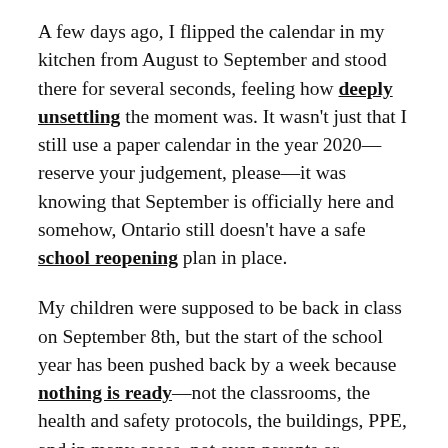A few days ago, I flipped the calendar in my kitchen from August to September and stood there for several seconds, feeling how deeply unsettling the moment was. It wasn't just that I still use a paper calendar in the year 2020—reserve your judgement, please—it was knowing that September is officially here and somehow, Ontario still doesn't have a safe school reopening plan in place.
My children were supposed to be back in class on September 8th, but the start of the school year has been pushed back by a week because nothing is ready—not the classrooms, the health and safety protocols, the buildings, PPE, and in many cases, not even parents or educators. It's a mess. Information is changing by the hour, and though we're just days away from most Ontario schools reopening, students still haven't been assigned to cohorts and many teachers don't even know their assignments/locations.